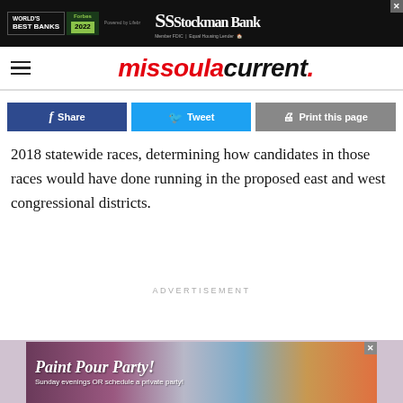[Figure (screenshot): Top banner advertisement for Stockman Bank featuring Forbes World's Best Banks 2022 award on black background]
missoulacurrent.
[Figure (screenshot): Social sharing buttons: Share (Facebook, blue), Tweet (Twitter, light blue), Print this page (grey)]
2018 statewide races, determining how candidates in those races would have done running in the proposed east and west congressional districts.
ADVERTISEMENT
[Figure (screenshot): Bottom banner advertisement for Paint Pour Party with purple, blue and orange fluid art background. Text: Paint Pour Party! Sunday evenings OR schedule a private party!]